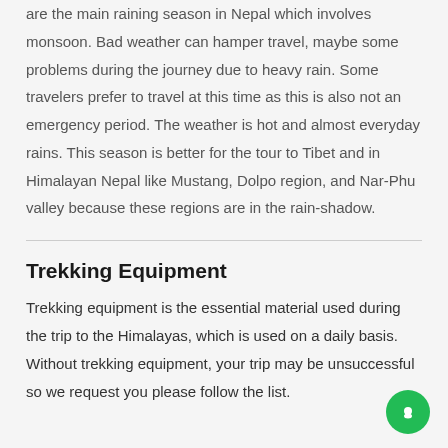are the main raining season in Nepal which involves monsoon. Bad weather can hamper travel, maybe some problems during the journey due to heavy rain. Some travelers prefer to travel at this time as this is also not an emergency period. The weather is hot and almost everyday rains. This season is better for the tour to Tibet and in Himalayan Nepal like Mustang, Dolpo region, and Nar-Phu valley because these regions are in the rain-shadow.
Trekking Equipment
Trekking equipment is the essential material used during the trip to the Himalayas, which is used on a daily basis. Without trekking equipment, your trip may be unsuccessful so we request you please follow the list.